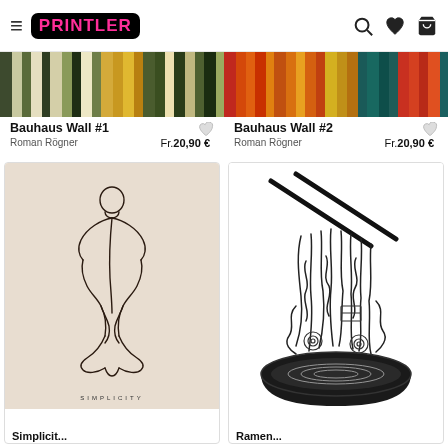Printler — navigation bar with hamburger, logo, search, heart, cart
[Figure (illustration): Bauhaus Wall #1 — vertical color strips in dark green, cream, yellow-orange, green tones]
Bauhaus Wall #1
Roman Rögner   Fr.20,90 €
[Figure (illustration): Bauhaus Wall #2 — vertical color strips in red, orange, yellow, teal, dark tones]
Bauhaus Wall #2
Roman Rögner   Fr.20,90 €
[Figure (illustration): Simplicity — line art of a nude figure seen from behind, seated, on beige background with SIMPLICITY text]
[Figure (illustration): Ramen bowl — black and white illustration of ramen noodles being lifted by chopsticks from a dark bowl]